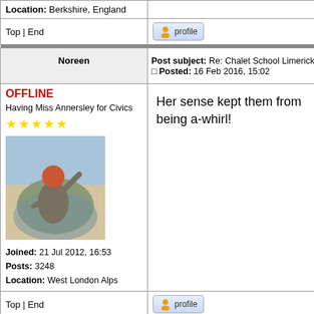| Left | Right |
| --- | --- |
| Location: Berkshire, England |  |
| Top | End | profile |
| Noreen | Post subject: Re: Chalet School Limericks V
Posted: 16 Feb 2016, 15:02 |
| OFFLINE
Having Miss Annersley for Civics
★★★★★
[image]
Joined: 21 Jul 2012, 16:53
Posts: 3248
Location: West London Alps | Her sense kept them from being a-whirl! |
| Top | End | profile |
| ivohenry | Post subject: Re: Chalet School Limericks V
Posted: 19 Feb 2016, 12:50 |
| OFFLINE
Playing end of term games | Jo Maynard was dreaming of quads |